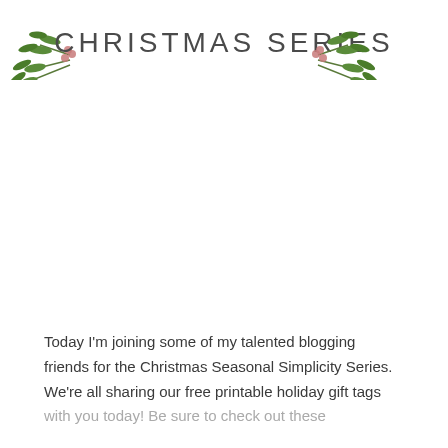[Figure (illustration): Christmas Series header banner with holly and pine branch decorations on left and right sides, with thin-line stylized text reading 'CHRISTMAS SERIES' in the center]
Today I'm joining some of my talented blogging friends for the Christmas Seasonal Simplicity Series. We're all sharing our free printable holiday gift tags with you today! Be sure to check out these